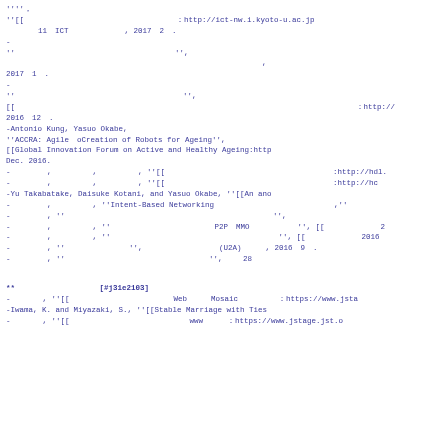''''，
''[[　　　　　　　　　　　　　　　　　　　：http://ict-nw.i.kyoto-u.ac.jp
11　ICT　　　　　　　, 2017　2　.
-
''　　　　　　　　　　　　　　　　　　　　'',
,
2017　1　.
-
''　　　　　　　　　　　　　　　　　　　　　'',
[[　　　　　　　　　　　　　　　　　　　　 　　　　　　　　　　　　　　　　　　　　　　：http://
2016　12　.
-Antonio Kung, Yasuo Okabe,
''ACCRA: Agile　oCreation of Robots for Ageing'',
[[Global Innovation Forum on Active and Healthy Ageing:http
Dec. 2016.
-　　 　　, 　　 　　, 　　 　　, ''[[　　　　　　　　　　　　　　　　　　　　　:http://hdl.
-　　 　　, 　　 　　, 　　 　　, ''[[　　　　　　　　　　　　　　　　　　　　　:http://hc
-Yu Takabatake, Daisuke Kotani, and Yasuo Okabe, ''[[An ano
-　　 　　, 　　 　　, ''Intent-Based Networking　　　　　　　　　　　　　　　,''
-　　 　　, ''　　　　　　　　　　　　　　　　　　　　　　　　　　'',
-　　 　　, 　　 　　, ''　　　　　　　　　　　　　P2P　MMO　　　　　　'', [[　　　　　　　2
-　　 　　, 　　 　　, ''　　　　　　　　　　　　　　　　　　　　　'', [[　　　　　　　2016
-　　 　　, ''　　　　　　　　'', 　　　　　　　　　(U2A)　　　, 2016　9　.
-　　 　　, ''　　　　　　　　　　　　　　　　　　'', 　　28
**　　　　　　　　　　 [#j31e2103]
-　　　　, ''[[　　　　　　　　　　　　　Web　　　Mosaic　　　　　：https://www.jsta
-Iwama, K. and Miyazaki, S., ''[[Stable Marriage with Ties
-　　　　, ''[[　　　　　　　　　　　　　　　www　　　：https://www.jstage.jst.o